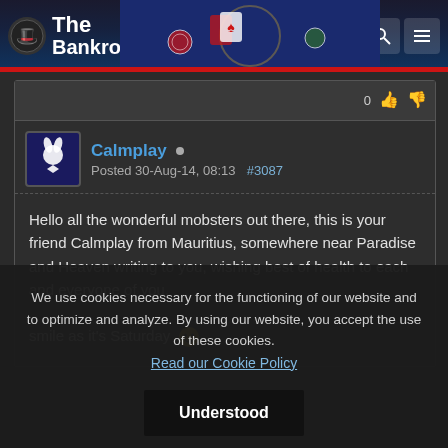The BankrollMob
0
Calmplay
Posted 30-Aug-14, 08:13  #3087
Hello all the wonderful mobsters out there, this is your friend Calmplay from Mauritius, somewhere near Paradise and Heaven writing to you, wishing best of health to each and everyone of you.

smile as it's Saturday 🙂
We use cookies necessary for the functioning of our website and to optimize and analyze. By using our website, you accept the use of these cookies.
Read our Cookie Policy
Understood